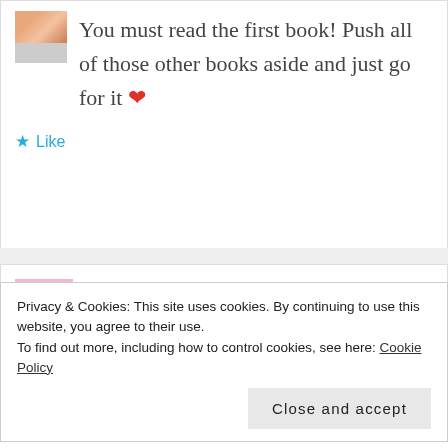You must read the first book! Push all of those other books aside and just go for it ❤
★ Like
Zainab   1 year ago
Privacy & Cookies: This site uses cookies. By continuing to use this website, you agree to their use.
To find out more, including how to control cookies, see here: Cookie Policy
Close and accept
soon! That lemon in your garden